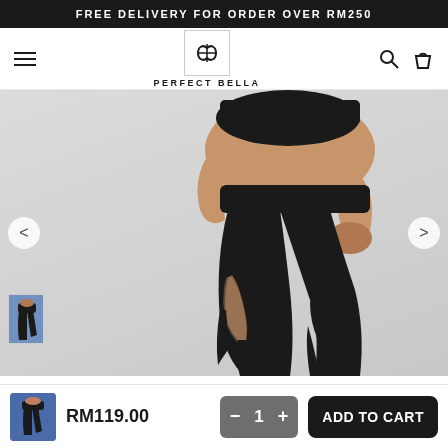FREE DELIVERY FOR ORDER OVER RM250
[Figure (logo): Perfect Bella brand logo — stylized infinity/cross symbol in a square border with text PERFECT BELLA below]
[Figure (photo): Woman wearing black athletic leggings with mesh cutout panel on the thigh, paired with black sports bra, posing on knees against light grey background]
RM119.00
1
ADD TO CART